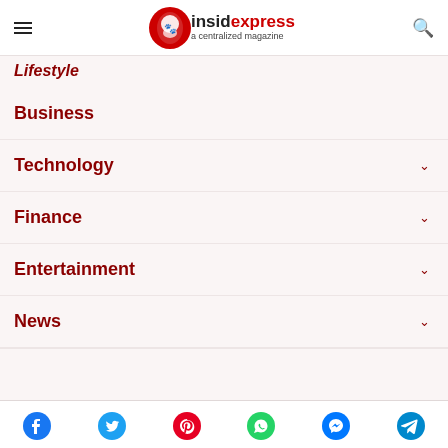insidexpress - a centralized magazine
Lifestyle
Business
Technology
Finance
Entertainment
News
Social icons: Facebook, Twitter, Pinterest, WhatsApp, Messenger, Telegram